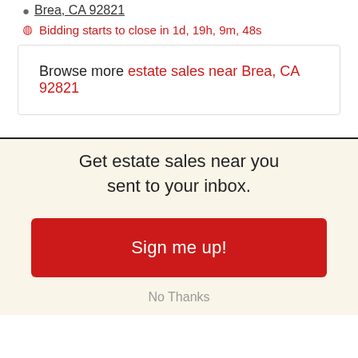Brea, CA 92821
Bidding starts to close in 1d, 19h, 9m, 48s
Browse more estate sales near Brea, CA 92821
Get estate sales near you sent to your inbox.
Sign me up!
No Thanks